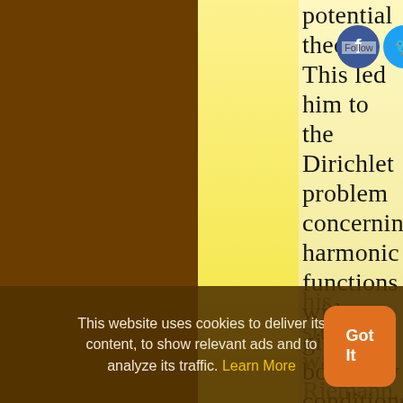potential theory. This led him to the Dirichlet problem concerning harmonic functions with given boundary conditions. Dirichlet is considered the founder of the theory of Fourier series, having corrected the earlier mistakes of other workers on Fourier's writings. One of his students was Riemann. In 1855, he succeeded Carl Friedrich Gauss at the University
[Figure (screenshot): Facebook and Twitter social follow icons with 'Follow' label]
This website uses cookies to deliver its content, to show relevant ads and to analyze its traffic. Learn More